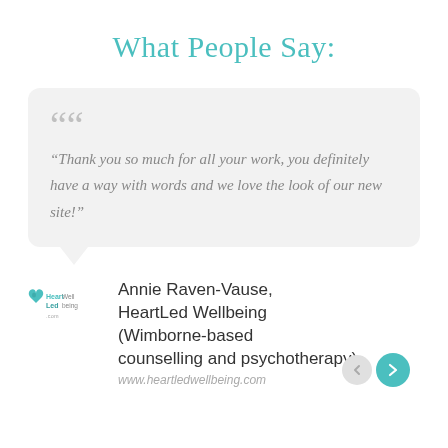What People Say:
“Thank you so much for all your work, you definitely have a way with words and we love the look of our new site!”
Annie Raven-Vause, HeartLed Wellbeing (Wimborne-based counselling and psychotherapy)
www.heartledwellbeing.com